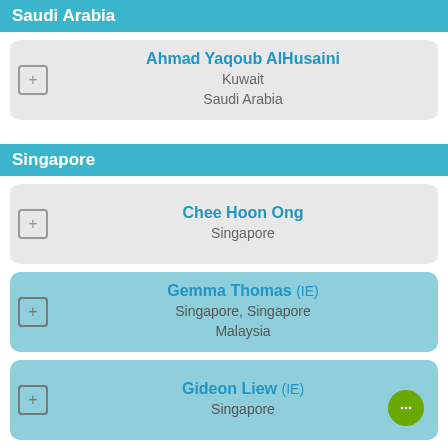Saudi Arabia
Ahmad Yaqoub AlHusaini
Kuwait
Saudi Arabia
Singapore
Chee Hoon Ong
Singapore
Gemma Thomas (IE)
Singapore, Singapore
Malaysia
Gideon Liew (IE)
Singapore
Jimmy Chee